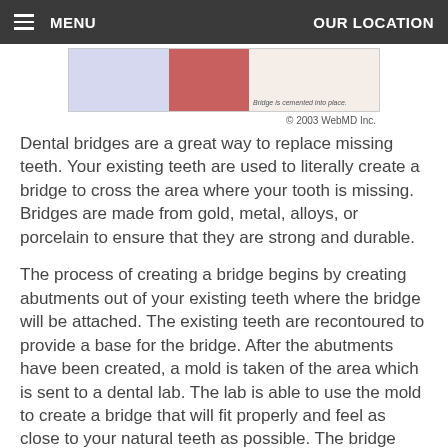MENU   OUR LOCATION
[Figure (illustration): Partial view of a dental bridge diagram showing a purple/lavender section on the left, a red/pink gum section in the middle, and teeth on the right with caption 'Bridge is cemented into place.' © 2003 WebMD Inc.]
© 2003 WebMD Inc.
Dental bridges are a great way to replace missing teeth. Your existing teeth are used to literally create a bridge to cross the area where your tooth is missing. Bridges are made from gold, metal, alloys, or porcelain to ensure that they are strong and durable.
The process of creating a bridge begins by creating abutments out of your existing teeth where the bridge will be attached. The existing teeth are recontoured to provide a base for the bridge. After the abutments have been created, a mold is taken of the area which is sent to a dental lab. The lab is able to use the mold to create a bridge that will fit properly and feel as close to your natural teeth as possible. The bridge consists of two crowns on either end to place on the abutments and a pontic, which is the new tooth that replaces your missing tooth.